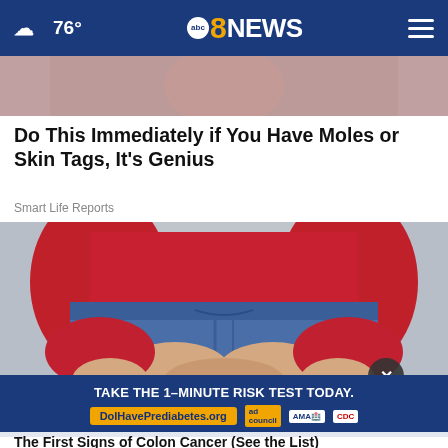76° abc8NEWS
[Figure (photo): Partial photo of a person at the top of the page, cropped]
Do This Immediately if You Have Moles or Skin Tags, It's Genius
Smart Life Reports
[Figure (photo): Photo of a woman in a red long-sleeve top and blue jeans, hands clasped in front of her waist, standing against a light grey background]
[Figure (infographic): Advertisement banner: TAKE THE 1-MINUTE RISK TEST TODAY. DoIHavePrediabetes.org - ad council, AMA, CDC logos]
The First Signs of Colon Cancer (See the List)